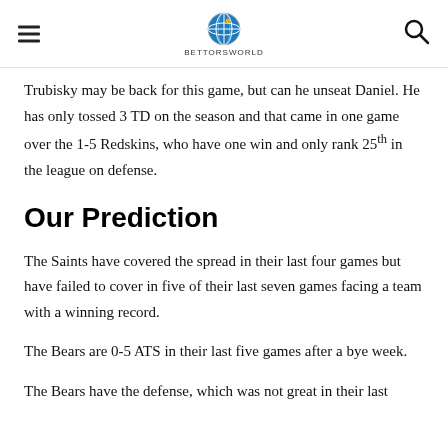BettorsWorld
Trubisky may be back for this game, but can he unseat Daniel. He has only tossed 3 TD on the season and that came in one game over the 1-5 Redskins, who have one win and only rank 25th in the league on defense.
Our Prediction
The Saints have covered the spread in their last four games but have failed to cover in five of their last seven games facing a team with a winning record.
The Bears are 0-5 ATS in their last five games after a bye week.
The Bears have the defense, which was not great in their last